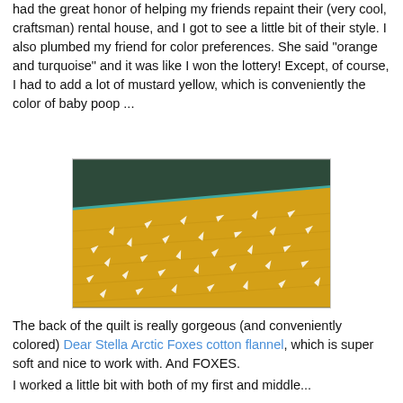had the great honor of helping my friends repaint their (very cool, craftsman) rental house, and I got to see a little bit of their style. I also plumbed my friend for color preferences. She said "orange and turquoise" and it was like I won the lottery! Except, of course, I had to add a lot of mustard yellow, which is conveniently the color of baby poop ...
[Figure (photo): Close-up photo of a mustard yellow quilt with white arrow/fox patterns on a dark teal/green background. The quilt shows quilting stitch lines and has a teal binding visible at the top edge.]
The back of the quilt is really gorgeous (and conveniently colored) Dear Stella Arctic Foxes cotton flannel, which is super soft and nice to work with. And FOXES.
I worked a little bit with both of my first and middle...